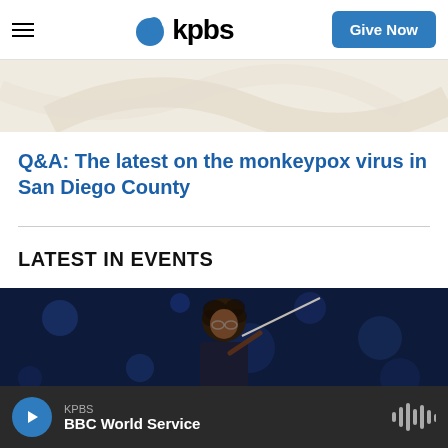kpbs — Give Now
[Figure (photo): Partial hero image with light beige/cream textured background, cropped at top]
Q&A: The latest on the monkeypox virus in San Diego County
LATEST IN EVENTS
[Figure (photo): Photo of a young musician playing violin or conducting, dark blue background with bokeh lighting]
KPBS — BBC World Service (audio player bar)